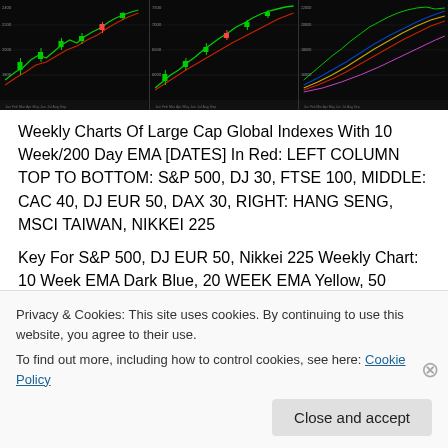[Figure (screenshot): Three stock chart panels showing weekly candlestick/line charts of global indexes on dark background]
Weekly Charts Of Large Cap Global Indexes With 10 Week/200 Day EMA [DATES] In Red: LEFT COLUMN TOP TO BOTTOM: S&P 500, DJ 30, FTSE 100, MIDDLE: CAC 40, DJ EUR 50, DAX 30, RIGHT: HANG SENG, MSCI TAIWAN, NIKKEI 225
Key For S&P 500, DJ EUR 50, Nikkei 225 Weekly Chart: 10 Week EMA Dark Blue, 20 WEEK EMA Yellow, 50
Privacy & Cookies: This site uses cookies. By continuing to use this website, you agree to their use.
To find out more, including how to control cookies, see here: Cookie Policy